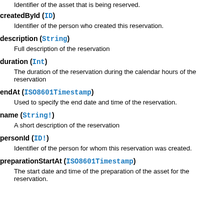Identifier of the asset that is being reserved.
createdById (ID)
Identifier of the person who created this reservation.
description (String)
Full description of the reservation
duration (Int)
The duration of the reservation during the calendar hours of the reservation
endAt (ISO8601Timestamp)
Used to specify the end date and time of the reservation.
name (String!)
A short description of the reservation
personId (ID!)
Identifier of the person for whom this reservation was created.
preparationStartAt (ISO8601Timestamp)
The start date and time of the preparation of the asset for the reservation.